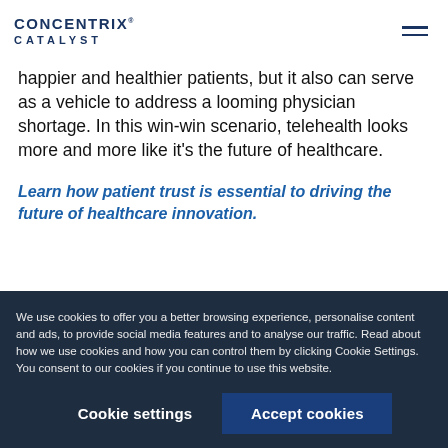CONCENTRIX CATALYST
happier and healthier patients, but it also can serve as a vehicle to address a looming physician shortage. In this win-win scenario, telehealth looks more and more like it's the future of healthcare.
Learn how patient trust is essential to driving the future of healthcare innovation.
We use cookies to offer you a better browsing experience, personalise content and ads, to provide social media features and to analyse our traffic. Read about how we use cookies and how you can control them by clicking Cookie Settings. You consent to our cookies if you continue to use this website.